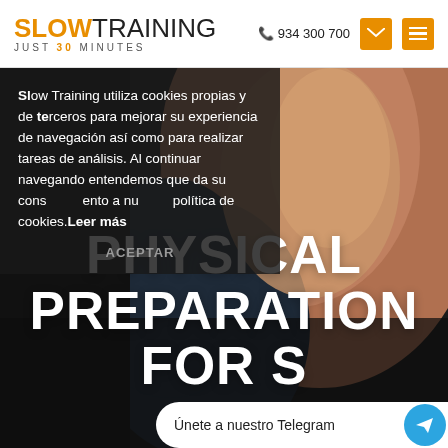[Figure (logo): Slow Training logo — SLOW in orange bold, TRAINING in dark, tagline JUST 30 MINUTES below]
934 300 700
[Figure (photo): Close-up of a person's muscular shoulder and arm in athletic wear, dark background, fitness theme]
Slow Training utiliza cookies propias y de terceros para mejorar su experiencia de navegación así como para realizar tareas de análisis. Al continuar navegando entendemos que da su consentimiento a nuestra política de cookies.Leer más
ACEPTAR
PHYSICAL PREPARATION FOR S...
Únete a nuestro Telegram